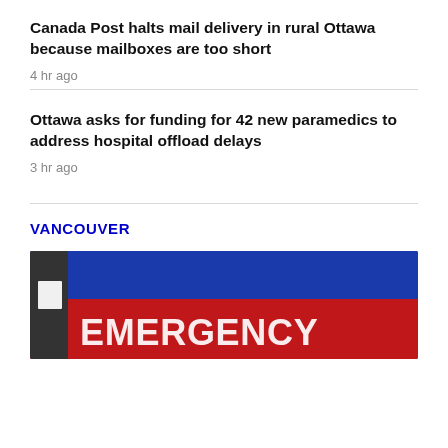Canada Post halts mail delivery in rural Ottawa because mailboxes are too short
4 hr ago
Ottawa asks for funding for 42 new paramedics to address hospital offload delays
3 hr ago
VANCOUVER
[Figure (photo): Photo of an emergency room sign — a red sign with white bold text reading EMERGENCY, with a blue banner above it, and a dark wall/pillar on the left side of the frame.]